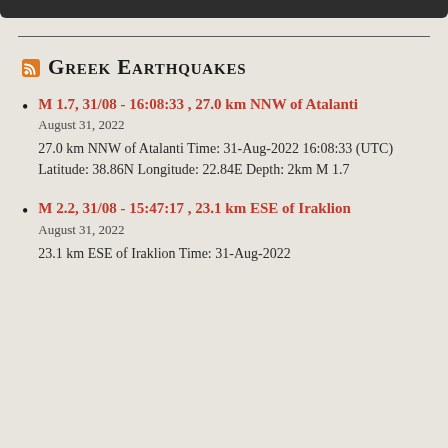GREEK EARTHQUAKES
M 1.7, 31/08 - 16:08:33 , 27.0 km NNW of Atalanti
August 31, 2022
27.0 km NNW of Atalanti Time: 31-Aug-2022 16:08:33 (UTC) Latitude: 38.86N Longitude: 22.84E Depth: 2km M 1.7
M 2.2, 31/08 - 15:47:17 , 23.1 km ESE of Iraklion
August 31, 2022
23.1 km ESE of Iraklion Time: 31-Aug-2022